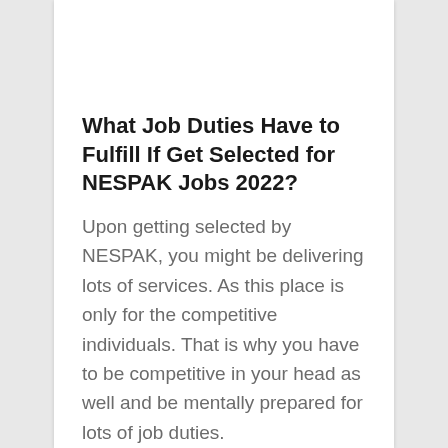What Job Duties Have to Fulfill If Get Selected for NESPAK Jobs 2022?
Upon getting selected by NESPAK, you might be delivering lots of services. As this place is only for the competitive individuals. That is why you have to be competitive in your head as well and be mentally prepared for lots of job duties.